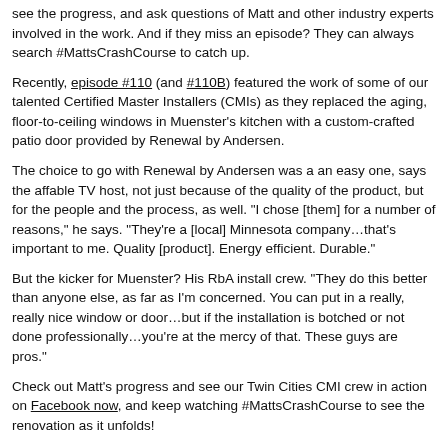see the progress, and ask questions of Matt and other industry experts involved in the work. And if they miss an episode? They can always search #MattsCrashCourse to catch up.
Recently, episode #110 (and #110B) featured the work of some of our talented Certified Master Installers (CMIs) as they replaced the aging, floor-to-ceiling windows in Muenster's kitchen with a custom-crafted patio door provided by Renewal by Andersen.
The choice to go with Renewal by Andersen was a an easy one, says the affable TV host, not just because of the quality of the product, but for the people and the process, as well. "I chose [them] for a number of reasons," he says. "They're a [local] Minnesota company…that's important to me. Quality [product]. Energy efficient. Durable."
But the kicker for Muenster? His RbA install crew. "They do this better than anyone else, as far as I'm concerned. You can put in a really, really nice window or door…but if the installation is botched or not done professionally…you're at the mercy of that. These guys are pros."
Check out Matt's progress and see our Twin Cities CMI crew in action on Facebook now, and keep watching #MattsCrashCourse to see the renovation as it unfolds!